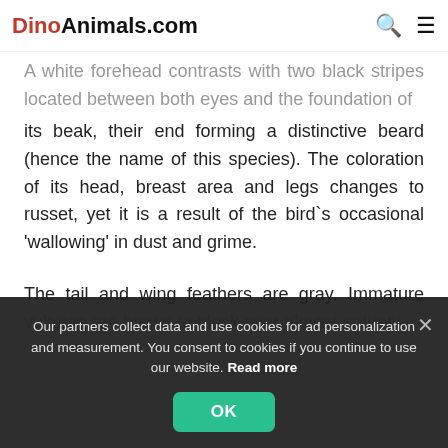DinoAnimals.com
A white forehead contrasts with two black stripes located between both eyes and the foundation of its beak, their end forming a distinctive beard (hence the name of this species). The coloration of its head, breast area and legs changes to russet, yet it is a result of the bird`s occasional 'wallowing' in dust and grime.
The tail and wing feathers are gray. Immature vultures are brown to black over almost entirety
Our partners collect data and use cookies for ad personalization and measurement. You consent to cookies if you continue to use our website. Read more
OK